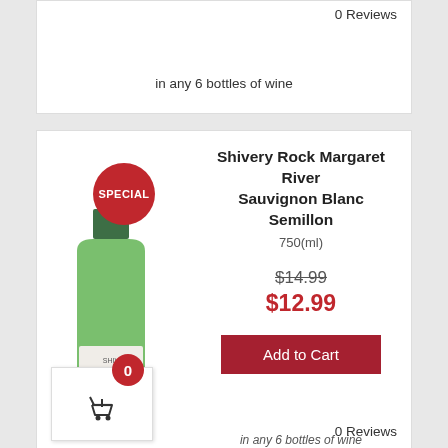0 Reviews
in any 6 bottles of wine
[Figure (photo): Green wine bottle for Shivery Rock Margaret River Sauvignon Blanc Semillon with a SPECIAL red badge overlay and a cart widget showing 0 items]
Shivery Rock Margaret River Sauvignon Blanc Semillon
750(ml)
$14.99
$12.99
Add to Cart
0 Reviews
in any 6 bottles of wine